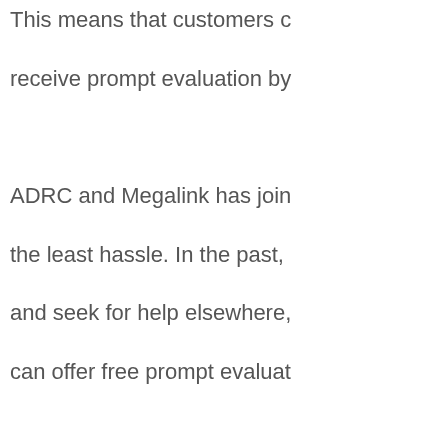This means that customers can receive prompt evaluation by ADRC and Megalink has joined the least hassle. In the past, and seek for help elsewhere, can offer free prompt evaluation. "The response has been very where they can enjoy data recovery System. Adroit Data Recovery Centre turnaround time as it owns the recovery. The company is ab